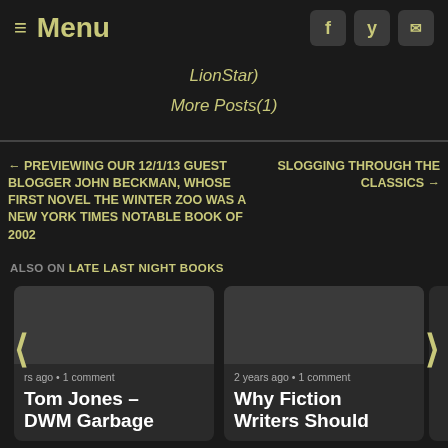≡ Menu
LionStar)
More Posts(1)
← PREVIEWING OUR 12/1/13 GUEST BLOGGER JOHN BECKMAN, WHOSE FIRST NOVEL THE WINTER ZOO WAS A NEW YORK TIMES NOTABLE BOOK OF 2002
SLOGGING THROUGH THE CLASSICS →
ALSO ON LATE LAST NIGHT BOOKS
rs ago · 1 comment
Tom Jones – DWM Garbage
2 years ago · 1 comment
Why Fiction Writers Should